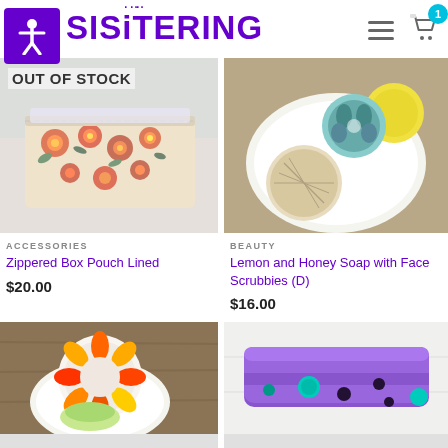SISTERING — e-commerce shop header with logo, hamburger menu, and cart icon with badge showing 1
[Figure (photo): Zippered box pouch with floral orange and red fabric pattern, out of stock overlay]
OUT OF STOCK
ACCESSORIES
Zippered Box Pouch Lined
$20.00
[Figure (photo): Lemon and honey soap with circular face scrubbies on a white plate, with yellow lemon and teal patterned fabrics]
BEAUTY
Lemon and Honey Soap with Face Scrubbies (D)
$16.00
[Figure (photo): Colorful flower-shaped face scrubby on white plate with green soap]
[Figure (photo): Purple soap bar with teal and black dot pattern on white background]